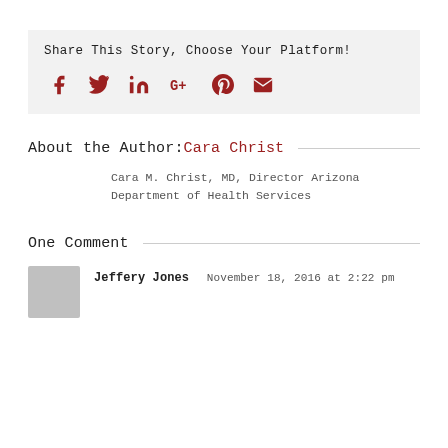Share This Story, Choose Your Platform!
[Figure (infographic): Social sharing icons: Facebook, Twitter, LinkedIn, Google+, Pinterest, Email — all in dark red/maroon color on a light grey background]
About the Author: Cara Christ
Cara M. Christ, MD, Director Arizona Department of Health Services
One Comment
Jeffery Jones  November 18, 2016 at 2:22 pm